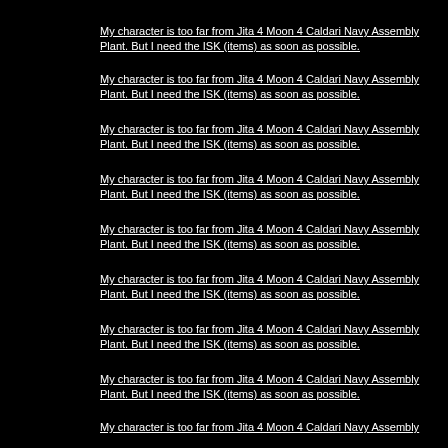My character is too far from Jita 4 Moon 4 Caldari Navy Assembly Plant. But I need the ISK (items) as soon as possible.
My character is too far from Jita 4 Moon 4 Caldari Navy Assembly Plant. But I need the ISK (items) as soon as possible.
My character is too far from Jita 4 Moon 4 Caldari Navy Assembly Plant. But I need the ISK (items) as soon as possible.
My character is too far from Jita 4 Moon 4 Caldari Navy Assembly Plant. But I need the ISK (items) as soon as possible.
My character is too far from Jita 4 Moon 4 Caldari Navy Assembly Plant. But I need the ISK (items) as soon as possible.
My character is too far from Jita 4 Moon 4 Caldari Navy Assembly Plant. But I need the ISK (items) as soon as possible.
My character is too far from Jita 4 Moon 4 Caldari Navy Assembly Plant. But I need the ISK (items) as soon as possible.
My character is too far from Jita 4 Moon 4 Caldari Navy Assembly Plant. But I need the ISK (items) as soon as possible.
My character is too far from Jita 4 Moon 4 Caldari Navy Assembly Plant. But I need the ISK (items) as soon as possible.